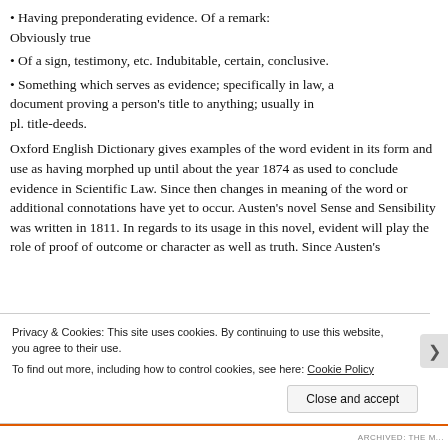Having preponderating evidence. Of a remark: Obviously true
Of a sign, testimony, etc. Indubitable, certain, conclusive.
Something which serves as evidence; specifically in law, a document proving a person’s title to anything; usually in pl. title-deeds.
Oxford English Dictionary gives examples of the word evident in its form and use as having morphed up until about the year 1874 as used to conclude evidence in Scientific Law. Since then changes in meaning of the word or additional connotations have yet to occur. Austen’s novel Sense and Sensibility was written in 1811. In regards to its usage in this novel, evident will play the role of proof of outcome or character as well as truth. Since Austen’s
Privacy & Cookies: This site uses cookies. By continuing to use this website, you agree to their use.
To find out more, including how to control cookies, see here: Cookie Policy
Close and accept